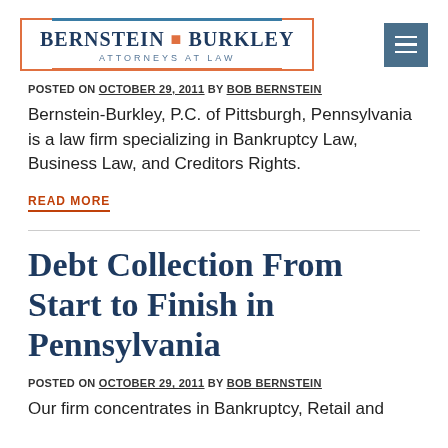[Figure (logo): Bernstein-Burkley Attorneys at Law logo with orange border and blue accent lines, and a hamburger menu icon in steel blue]
POSTED ON OCTOBER 29, 2011 BY BOB BERNSTEIN
Bernstein-Burkley, P.C. of Pittsburgh, Pennsylvania is a law firm specializing in Bankruptcy Law, Business Law, and Creditors Rights.
READ MORE
Debt Collection From Start to Finish in Pennsylvania
POSTED ON OCTOBER 29, 2011 BY BOB BERNSTEIN
Our firm concentrates in Bankruptcy, Retail and